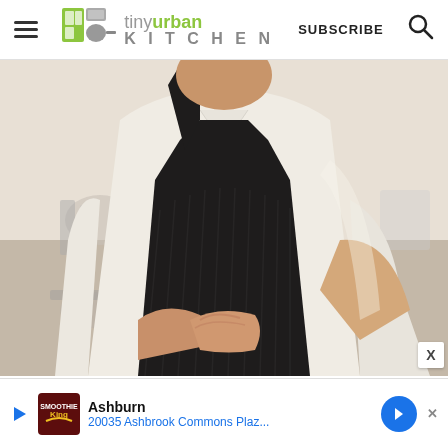tiny urban KITCHEN — SUBSCRIBE
[Figure (photo): A chef wearing a white double-breasted chef coat and dark navy/black apron, standing with arms crossed in a professional kitchen. The photo is cropped at mid-torso and above, showing no face. Kitchen equipment visible in the blurred background.]
Ashburn
20035 Ashbrook Commons Plaz...